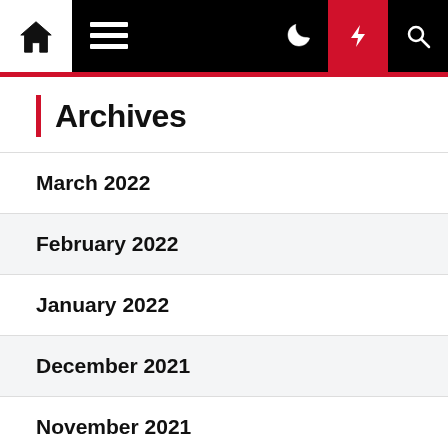Navigation bar with home, menu, dark mode, lightning/breaking news, and search icons
Archives
March 2022
February 2022
January 2022
December 2021
November 2021
October 2021
September 2021
August 2021